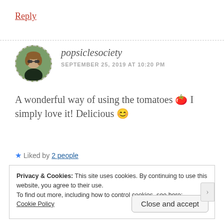Reply
[Figure (photo): Circular avatar photo of a woman with sunglasses outdoors with green background]
popsiclesociety
SEPTEMBER 25, 2019 AT 10:20 PM
A wonderful way of using the tomatoes 🍅 I simply love it! Delicious 😋
★ Liked by 2 people
Privacy & Cookies: This site uses cookies. By continuing to use this website, you agree to their use.
To find out more, including how to control cookies, see here:
Cookie Policy
Close and accept